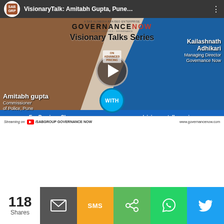[Figure (screenshot): YouTube video thumbnail for VisionaryTalk featuring Amitabh Gupta, Commissioner of Police, Pune and Kailashnath Adhikari, Managing Director Governance Now. Shows Visionary Talks Series branding with GovernanceNow logo. Blue bar at bottom: 'For Previous Shows: www.governancenow.com/visionary-talks-series']
118 Shares